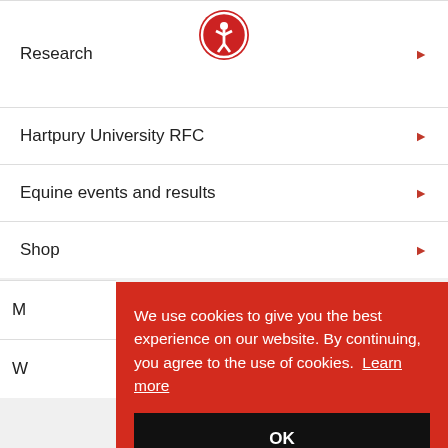Research
[Figure (logo): Red circle accessibility icon with person figure in white]
Hartpury University RFC
Equine events and results
Shop
M
W
We use cookies to give you the best experience on our website. By continuing, you agree to the use of cookies.  Learn more
OK
ADDRESS